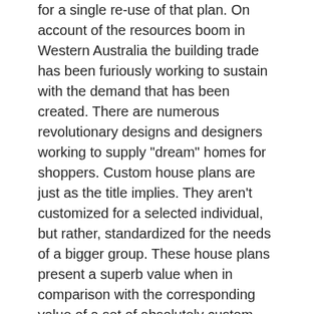for a single re-use of that plan. On account of the resources boom in Western Australia the building trade has been furiously working to sustain with the demand that has been created. There are numerous revolutionary designs and designers working to supply "dream" homes for shoppers. Custom house plans are just as the title implies. They aren't customized for a selected individual, but rather, standardized for the needs of a bigger group. These house plans present a superb value when in comparison with the corresponding value of a set of absolutely custom house plans which may exceed a number of thousand dollars.
If you liked this article and you wish to acquire more info about salvatore boarding house floor plan generously go to our website.